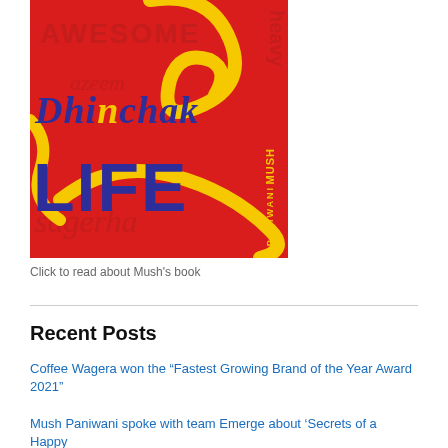[Figure (illustration): Book cover for 'Dhinchak Life' by Mush Paniwani. Red background with yellow swoosh design, large dark blue italic text 'Dhinchak' with yellow 'n', bold dark blue 'LIFE' in large letters, and watermark words (AWESOME, azeem, heavy, sagerha) in darker red. Author name 'MUSH PANIWANI' in yellow vertical text on right side.]
Click to read about Mush's book
Recent Posts
Coffee Wagera won the “Fastest Growing Brand of the Year Award 2021”
Mush Paniwani spoke with team Emerge about ‘Secrets of a Happy